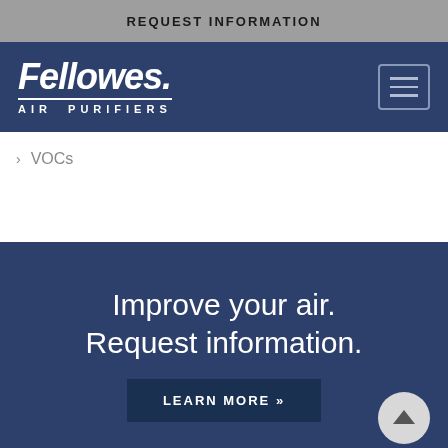REQUEST INFORMATION
[Figure (logo): Fellowes Air Purifiers logo — bold italic white text 'Fellowes.' with 'AIR PURIFIERS' subtitle underlined, on navy blue background. Hamburger menu icon in top right.]
> VOCs
Improve your air. Request information.
LEARN MORE »